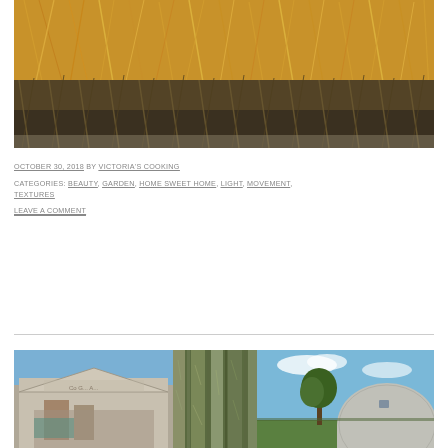[Figure (photo): Photograph of golden-brown tall grass field, lit with warm light from above, with darker dried grasses at the bottom.]
OCTOBER 30, 2018 BY VICTORIA'S COOKING
CATEGORIES: BEAUTY, GARDEN, HOME SWEET HOME, LIGHT, MOVEMENT, TEXTURES
LEAVE A COMMENT
[Figure (photo): Three photographs side by side: left shows an old weathered building facade with faded signage and rust stains; center shows vertical tree trunks with peeling bark texture; right shows a Quonset-style rounded barn or building with a tree nearby under blue sky.]